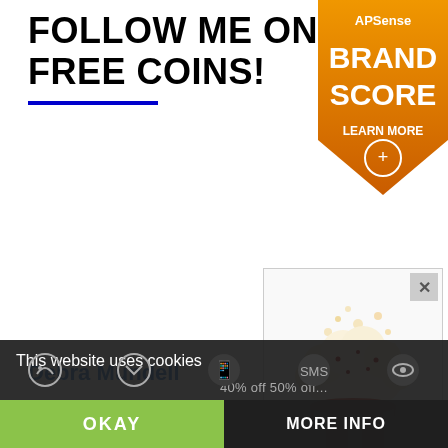FOLLOW ME ON REFIND GET FREE COINS!
[Figure (logo): APSense Brand Score - Learn More badge in orange shield shape]
[Figure (illustration): Popcorn bucket illustration with popcorn overflowing, red and white striped bucket, in a popup ad with close button]
Debra Mundell
TAG CLOUD
This website uses cookies
40% off 50% off...
OKAY
MORE INFO